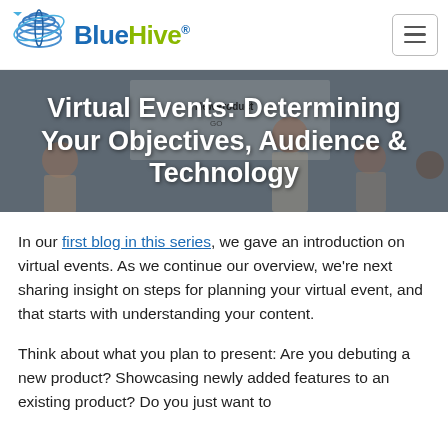[Figure (logo): BlueHive logo with blue globe/hive icon and blue/green wordmark text]
[Figure (photo): Hero banner image showing a presentation meeting scene with text overlay: 'Virtual Events: Determining Your Objectives, Audience & Technology']
Virtual Events: Determining Your Objectives, Audience & Technology
In our first blog in this series, we gave an introduction on virtual events. As we continue our overview, we're next sharing insight on steps for planning your virtual event, and that starts with understanding your content.
Think about what you plan to present: Are you debuting a new product? Showcasing newly added features to an existing product? Do you just want to